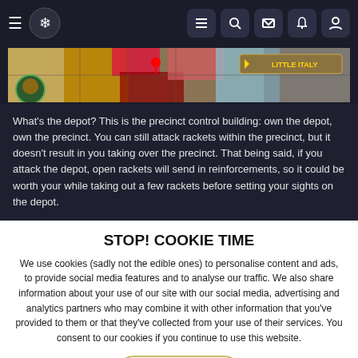Navigation bar with hamburger, logo, and icons (list, search, mail, bell, user)
[Figure (screenshot): Game screenshot showing a top-down city map with colored districts, a character portrait in the bottom-left, and 'LITTLE ITALY' label in top-right corner]
What's the depot? This is the precinct control building: own the depot, own the precinct. You can still attack rackets within the precinct, but it doesn't result in you taking over the precinct. That being said, if you attack the depot, open rackets will send in reinforcements, so it could be worth your while taking out a few rackets before setting your sights on the depot.
STOP! COOKIE TIME
We use cookies (sadly not the edible ones) to personalise content and ads, to provide social media features and to analyse our traffic. We also share information about your use of our site with our social media, advertising and analytics partners who may combine it with other information that you've provided to them or that they've collected from your use of their services. You consent to our cookies if you continue to use this website.